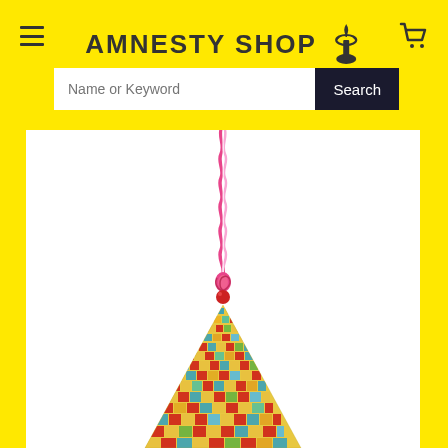[Figure (logo): Amnesty Shop logo with Amnesty International candle icon on yellow background header]
[Figure (screenshot): Search bar with text input placeholder 'Name or Keyword' and dark 'Search' button on yellow background]
[Figure (photo): Colorful woven/knitted cone-shaped product hanging by a twisted pink and white cord, on white background with yellow side panels]